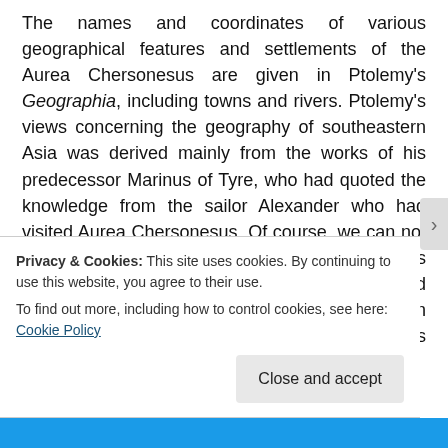The names and coordinates of various geographical features and settlements of the Aurea Chersonesus are given in Ptolemy's Geographia, including towns and rivers. Ptolemy's views concerning the geography of southeastern Asia was derived mainly from the works of his predecessor Marinus of Tyre, who had quoted the knowledge from the sailor Alexander who had visited Aurea Chersonesus. Of course, we can not expect a good accuracy of the coordinates because of the method of their measurements and most of them are derived from the information without knowing the exact locations. The latitudes of the places around the Aurea Chersonesus are
Privacy & Cookies: This site uses cookies. By continuing to use this website, you agree to their use.
To find out more, including how to control cookies, see here: Cookie Policy
Close and accept